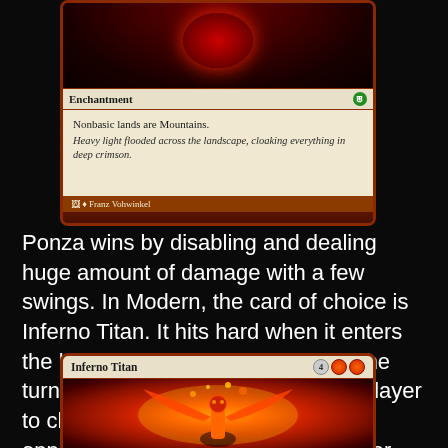[Figure (photo): Magic: The Gathering card showing an enchantment card with red border. Card type line reads 'Enchantment'. Text box reads 'Nonbasic lands are Mountains.' with flavor text 'Heavy light flooded across the landscape, cloaking everything in deep crimson.' Artist credit: Franz Vohwinkel.]
Ponza wins by disabling and dealing huge amount of damage with a few swings. In Modern, the card of choice is Inferno Titan. It hits hard when it enters the battlefield, and hits like a truck the turns after which allows the Ponza player to close the game quickly before the opponent can get a chance to recover.
[Figure (photo): Magic: The Gathering card — Inferno Titan with mana cost 4RR. Art shows a fiery titan figure with wings of flame.]